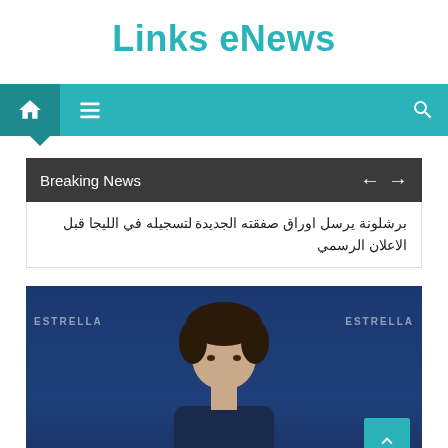Links eNews
[Figure (screenshot): Navigation bar with home icon, hamburger menu, and search icon on teal background]
Breaking News ← →
برشلونة يرسل اوراق صفقته الجديدة لتسجيله في الليجا قبل الاعلان الرسمي
[Figure (photo): Photo of a man with dark hair against a blue background with 'Estrella' sponsor branding]